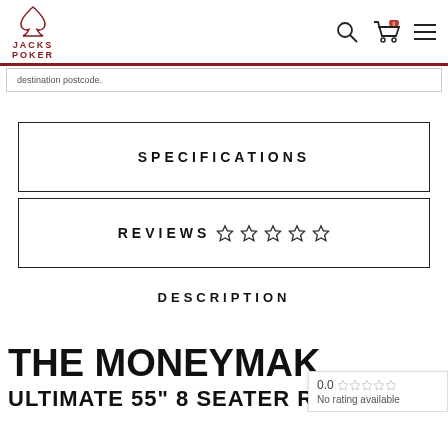JACKS POKER
destination postcode.
SPECIFICATIONS
REVIEWS ☆ ☆ ☆ ☆ ☆
DESCRIPTION
THE MONEYMAKER ULTIMATE 55" 8 SEATER RO...